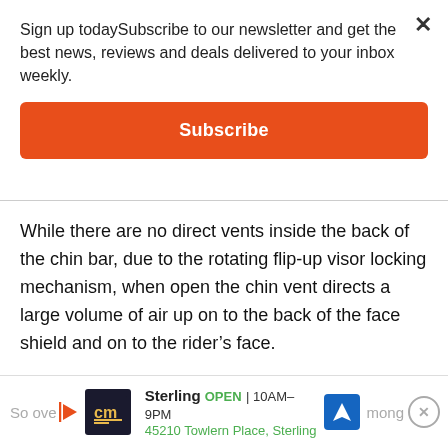Sign up todaySubscribe to our newsletter and get the best news, reviews and deals delivered to your inbox weekly.
Subscribe
While there are no direct vents inside the back of the chin bar, due to the rotating flip-up visor locking mechanism, when open the chin vent directs a large volume of air up on to the back of the face shield and on to the rider’s face.
The chin vent slider snaps open and closed with a solid feel. It’s large and easy to find when wearing gloves.
So over… mong the b…